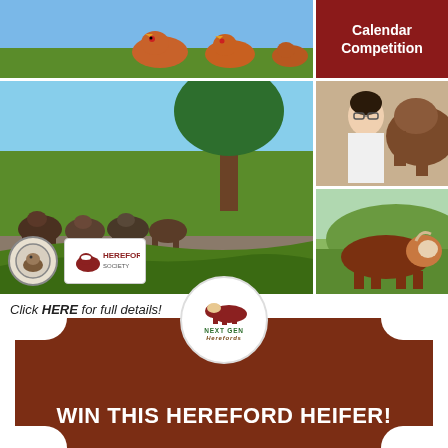[Figure (photo): Photo collage: chickens in a field (top left), herd of Hereford cattle under a tree (center left), red banner with Calendar Competition text (top right), young woman with Hereford cattle at show (middle right), Hereford bull in a green field (bottom right)]
Click HERE for full details!
[Figure (infographic): Brown banner graphic with scalloped edges featuring Next Gen Herefords logo in a white circle at top and text WIN THIS HEREFORD HEIFER! at the bottom]